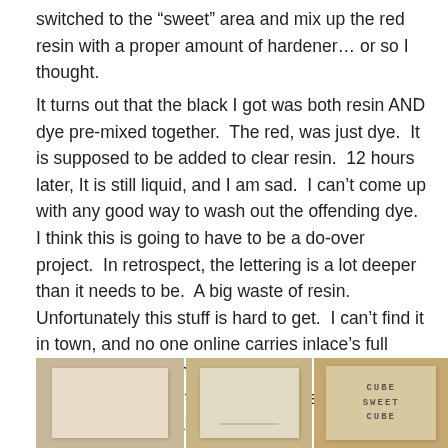switched to the “sweet” area and mix up the red resin with a proper amount of hardener… or so I thought.
It turns out that the black I got was both resin AND dye pre-mixed together.  The red, was just dye.  It is supposed to be added to clear resin.  12 hours later, It is still liquid, and I am sad.  I can’t come up with any good way to wash out the offending dye.  I think this is going to have to be a do-over project.  In retrospect, the lettering is a lot deeper than it needs to be.  A big waste of resin.  Unfortunately this stuff is hard to get.  I can’t find it in town, and no one online carries inlace’s full product line.  I might try to find their clear resin and do it over, or I might try someone else’s epoxy dye that is more attainable.
[Figure (photo): Three photographs side by side showing flat wooden or resin pieces on a wooden surface. The rightmost piece shows engraved text reading CUBE SWEET CUBE in a typewriter-style font.]